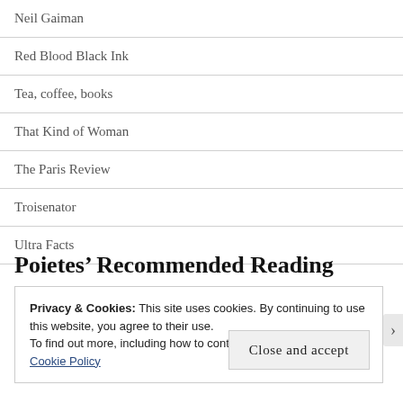Neil Gaiman
Red Blood Black Ink
Tea, coffee, books
That Kind of Woman
The Paris Review
Troisenator
Ultra Facts
Poietes’ Recommended Reading
Privacy & Cookies: This site uses cookies. By continuing to use this website, you agree to their use.
To find out more, including how to control cookies, see here: Cookie Policy

Close and accept